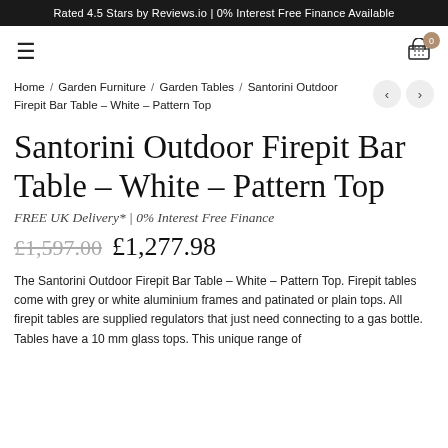Rated 4.5 Stars by Reviews.io | 0% Interest Free Finance Available
≡  [cart icon with badge 0]
Home / Garden Furniture / Garden Tables / Santorini Outdoor Firepit Bar Table – White – Pattern Top
Santorini Outdoor Firepit Bar Table – White – Pattern Top
FREE UK Delivery* | 0% Interest Free Finance
£1,597.00  £1,277.98
The Santorini Outdoor Firepit Bar Table – White – Pattern Top. Firepit tables come with grey or white aluminium frames and patinated or plain tops. All firepit tables are supplied regulators that just need connecting to a gas bottle. Tables have a 10 mm glass tops. This unique range of